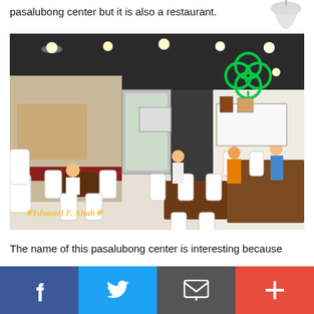pasalubong center but it is also a restaurant.
[Figure (photo): Interior of a Filipino pasalubong center and restaurant with white chairs, wooden tables, customers dining, display counters, a green four-leaf clover neon sign, and a watermark reading 'Ishmael F. Ahab']
The name of this pasalubong center is interesting because
Facebook | Twitter | Email | Plus